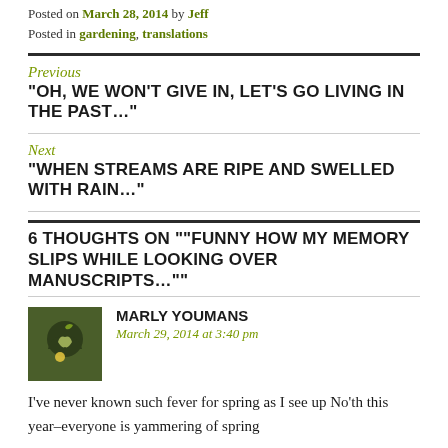Posted on March 28, 2014 by Jeff
Posted in gardening, translations
Previous
"OH, WE WON'T GIVE IN, LET'S GO LIVING IN THE PAST..."
Next
"WHEN STREAMS ARE RIPE AND SWELLED WITH RAIN..."
6 THOUGHTS ON ""FUNNY HOW MY MEMORY SLIPS WHILE LOOKING OVER MANUSCRIPTS...""
MARLY YOUMANS
March 29, 2014 at 3:40 pm
I've never known such fever for spring as I see up No'th this year–everyone is yammering of spring